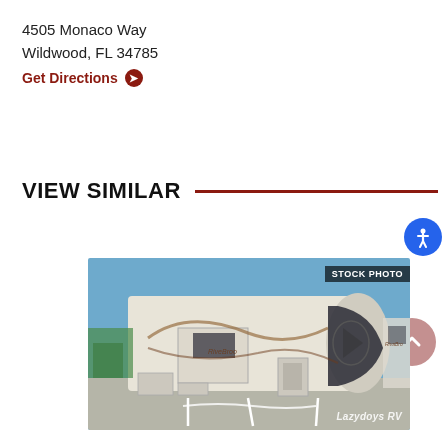4505 Monaco Way
Wildwood, FL 34785
Get Directions ➤
VIEW SIMILAR
[Figure (photo): Exterior stock photo of a large fifth-wheel RV (Grand Design Reflection or similar) in a dealership lot with blue sky background. Badge reads 'STOCK PHOTO' in top right corner. Lazydoys RV watermark in bottom right.]